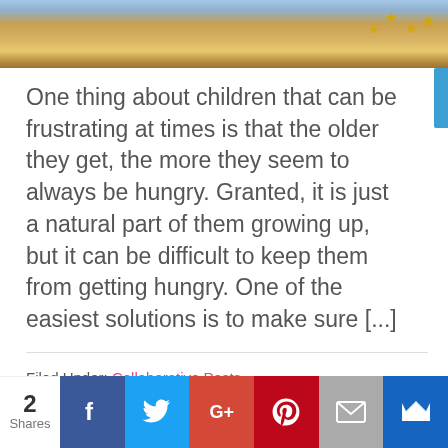[Figure (photo): Photo of food items (likely biscuits or crackers) on a wooden board with gold star decorations, partially cropped at top]
One thing about children that can be frustrating at times is that the older they get, the more they seem to always be hungry. Granted, it is just a natural part of them growing up, but it can be difficult to keep them from getting hungry. One of the easiest solutions is to make sure [...]
Filed Under: Collaborative Posts
Tagged With: Food
[Figure (infographic): Social share bar showing 2 Shares, with buttons for Facebook, Twitter, Google+, Pinterest, Email, and a crown/king button]